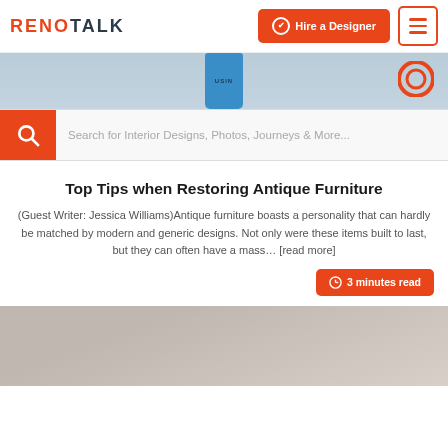RENOTALK
[Figure (screenshot): Top portion of an article page showing a photo with a blue paint bucket and a circular Q logo]
[Figure (screenshot): Search bar with orange magnifying glass icon and placeholder text 'Search for Interior Designs, Photos, Journeys & More...']
Top Tips when Restoring Antique Furniture
(Guest Writer: Jessica Williams)Antique furniture boasts a personality that can hardly be matched by modern and generic designs. Not only were these items built to last, but they can often have a mass... [read more]
3 minutes read
[Figure (photo): Bottom portion showing the top of another article's photo — a grey/beige interior scene]